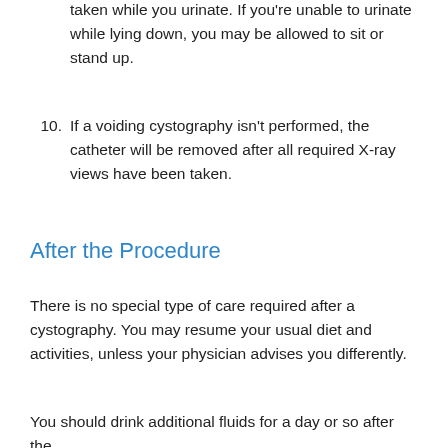taken while you urinate. If you're unable to urinate while lying down, you may be allowed to sit or stand up.
10. If a voiding cystography isn't performed, the catheter will be removed after all required X-ray views have been taken.
After the Procedure
There is no special type of care required after a cystography. You may resume your usual diet and activities, unless your physician advises you differently.
You should drink additional fluids for a day or so after the